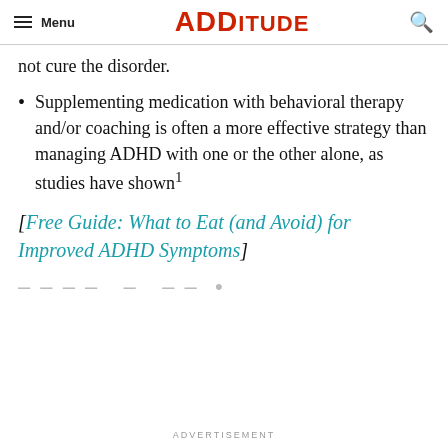Menu | ADDitude | [search]
not cure the disorder.
Supplementing medication with behavioral therapy and/or coaching is often a more effective strategy than managing ADHD with one or the other alone, as studies have shown¹
[Free Guide: What to Eat (and Avoid) for Improved ADHD Symptoms]
ADVERTISEMENT